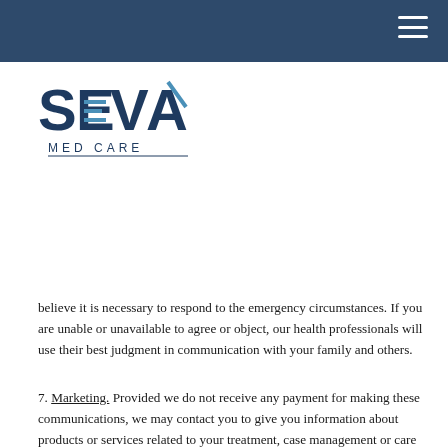SEVA MED CARE
[Figure (logo): SEVA MED CARE logo with stylized letters S, E, V, A in dark navy blue with horizontal line accents, and 'MED CARE' text below]
believe it is necessary to respond to the emergency circumstances. If you are unable or unavailable to agree or object, our health professionals will use their best judgment in communication with your family and others.
7. Marketing. Provided we do not receive any payment for making these communications, we may contact you to give you information about products or services related to your treatment, case management or care coordination, or to direct or recommend other treatments, therapies, health care providers or settings of care that may be of interest to you. We may similarly describe products or services provided by this practice and tell you which health plans this practice participates in. We may also encourage you to maintain a healthy lifestyle and get recommended tests, participate in a disease management program, provide you with small gifts, tell you about government sponsored health programs or